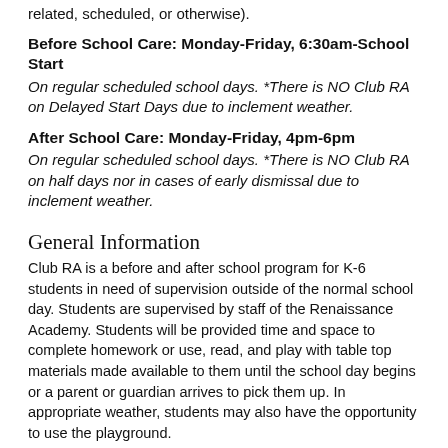related, scheduled, or otherwise).
Before School Care: Monday-Friday, 6:30am-School Start
On regular scheduled school days. *There is NO Club RA on Delayed Start Days due to inclement weather.
After School Care: Monday-Friday, 4pm-6pm
On regular scheduled school days. *There is NO Club RA on half days nor in cases of early dismissal due to inclement weather.
General Information
Club RA is a before and after school program for K-6 students in need of supervision outside of the normal school day. Students are supervised by staff of the Renaissance Academy. Students will be provided time and space to complete homework or use, read, and play with table top materials made available to them until the school day begins or a parent or guardian arrives to pick them up. In appropriate weather, students may also have the opportunity to use the playground.
During Club RA, all school behavior expectations and procedures